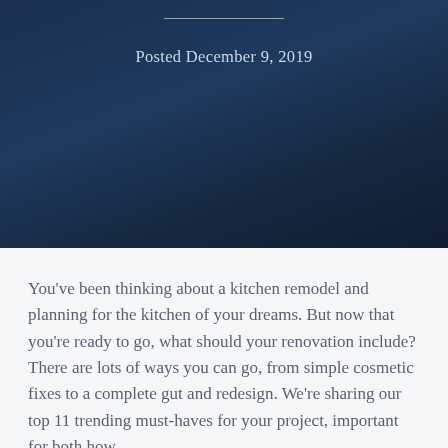Posted December 9, 2019
You've been thinking about a kitchen remodel and planning for the kitchen of your dreams. But now that you're ready to go, what should your renovation include? There are lots of ways you can go, from simple cosmetic fixes to a complete gut and redesign. We're sharing our top 11 trending must-haves for your project, important for both how